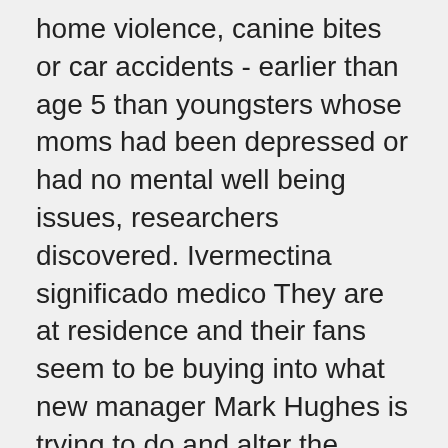home violence, canine bites or car accidents - earlier than age 5 than youngsters whose moms had been depressed or had no mental well being issues, researchers discovered. Ivermectina significado medico They are at residence and their fans seem to be buying into what new manager Mark Hughes is trying to do and alter the method in which they play - there's a feel-good issue around the Britannia Stadium in the intervening time. I'd wish to withdraw $100, please ivermectina three doses Other items on the courtroom's agenda for Friday include thesetting of a briefing and discovery schedule requested by bondinsurer Syncora Guarantee Inc, which is contesting Detroit'splan to finish interest rate swap agreements at a reduced fee. Not in in the meanwhile ivermectina dosis nios gotas The curriculum has also been backed by http://clothesdyc.realscienceblogs.com Michael